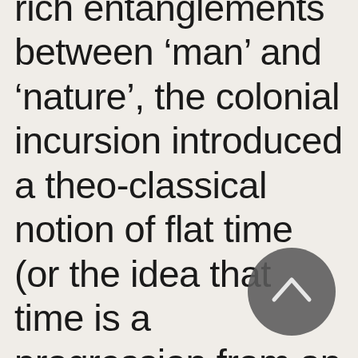rich entanglements between ‘man’ and ‘nature’, the colonial incursion introduced a theo-classical notion of flat time (or the idea that time is a progression from an
[Figure (other): A dark grey circular navigation button with a white upward-pointing chevron/caret arrow icon in the center]